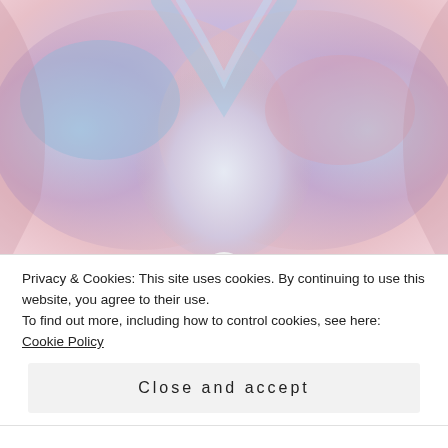[Figure (photo): Colorful abstract image resembling wings or a butterfly with blue, pink, and purple hues, symmetrical composition.]
New Moon in Gemini and Mars conjunct Jupiter in Aries, 30th May 2022. Your Wings Are Ready!
The New Moon in Gemini, is exciting, positive and uplifting as the Sun and Moon in the air sign of Gemini are fanning
Privacy & Cookies: This site uses cookies. By continuing to use this website, you agree to their use.
To find out more, including how to control cookies, see here: Cookie Policy
Close and accept